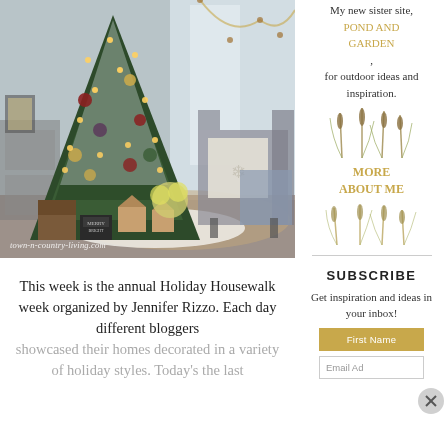[Figure (photo): A decorated Christmas tree with warm lights, ornaments, gifts underneath including small wooden houses, and a white poinsettia plant; a grey armchair with a snowflake pillow and blue throw blanket in the background. Watermark reads 'town-n-country-living.com']
town-n-country-living.com
This week is the annual Holiday Housewalk week organized by Jennifer Rizzo. Each day different bloggers showcased their homes decorated in a variety of holiday styles. Today's the last
My new sister site, POND AND GARDEN, for outdoor ideas and inspiration.
MORE ABOUT ME
SUBSCRIBE
Get inspiration and ideas in your inbox!
First Name
Email Ad